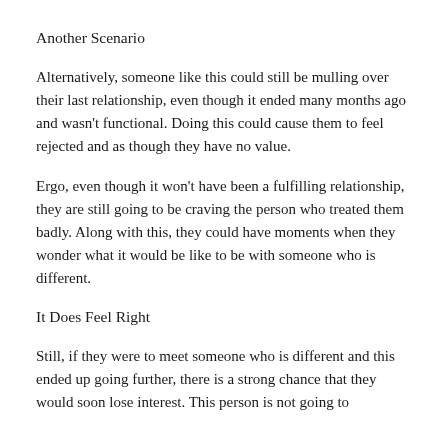Another Scenario
Alternatively, someone like this could still be mulling over their last relationship, even though it ended many months ago and wasn't functional. Doing this could cause them to feel rejected and as though they have no value.
Ergo, even though it won't have been a fulfilling relationship, they are still going to be craving the person who treated them badly. Along with this, they could have moments when they wonder what it would be like to be with someone who is different.
It Does Feel Right
Still, if they were to meet someone who is different and this ended up going further, there is a strong chance that they would soon lose interest. This person is not going to